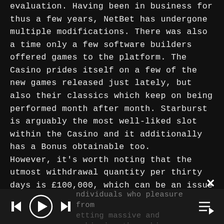evaluation. Having been in business for thus a few years, NetBet has undergone multiple modifications. There was also a time only a few software builders offered games to the platform. The Casino prides itself on a few of the new games released just lately, but also their classics which keep on being performed month after month. Starburst is arguably the most well-liked slot within the Casino and it additionally has a Bonus obtainable too.
However, it's worth noting that the utmost withdrawal quantity per thirty days is £100,000, which can be an issue
individuals who pleasure from betting massive and achieving those big